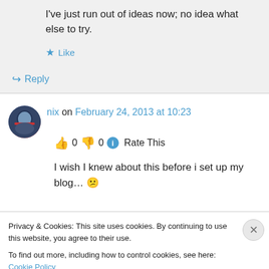I've just run out of ideas now; no idea what else to try.
★ Like
↳ Reply
nix on February 24, 2013 at 10:23
👍 0 👎 0 ℹ Rate This
I wish I knew about this before i set up my blog… 😕
Privacy & Cookies: This site uses cookies. By continuing to use this website, you agree to their use.
To find out more, including how to control cookies, see here: Cookie Policy
Close and accept